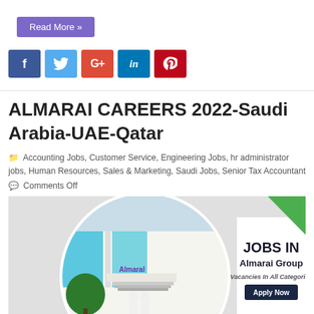Read More »
[Figure (other): Social media share buttons: Facebook (blue), Twitter (light blue), Google+ (red), LinkedIn (blue), Pinterest (red)]
ALMARAI CAREERS 2022-Saudi Arabia-UAE-Qatar
Accounting Jobs, Customer Service, Engineering Jobs, hr administrator jobs, Human Resources, Sales & Marketing, Saudi Jobs, Senior Tax Accountant
Comments Off
[Figure (photo): Almarai company building with logo. Two people in traditional Arabic dress walking toward entrance. On the right side: text 'JOBS IN Almarai Group Vacancies In All Categories Apply Now' with a dark navy button, and a green geometric triangle shape in upper right.]